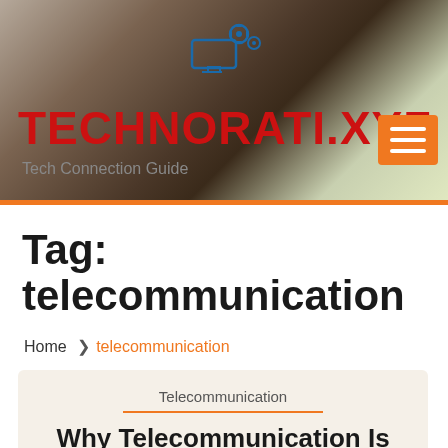[Figure (screenshot): Website header banner with background photo of wooden table and green leaves, showing TECHNORATI.XYZ logo with gear/monitor icon, site tagline 'Tech Connection Guide', and orange hamburger menu button]
Tag: telecommunication
Home ❯ telecommunication
Telecommunication
Why Telecommunication Is Important